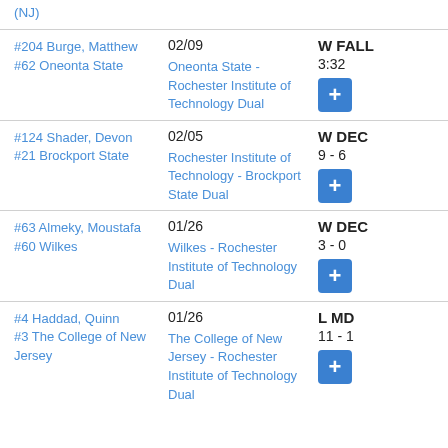(NJ)
#204 Burge, Matthew | #62 Oneonta State | 02/09 | Oneonta State - Rochester Institute of Technology Dual | W FALL | 3:32
#124 Shader, Devon | #21 Brockport State | 02/05 | Rochester Institute of Technology - Brockport State Dual | W DEC | 9 - 6
#63 Almeky, Moustafa | #60 Wilkes | 01/26 | Wilkes - Rochester Institute of Technology Dual | W DEC | 3 - 0
#4 Haddad, Quinn | #3 The College of New Jersey | 01/26 | The College of New Jersey - Rochester Institute of Technology Dual | L MD | 11 - 1